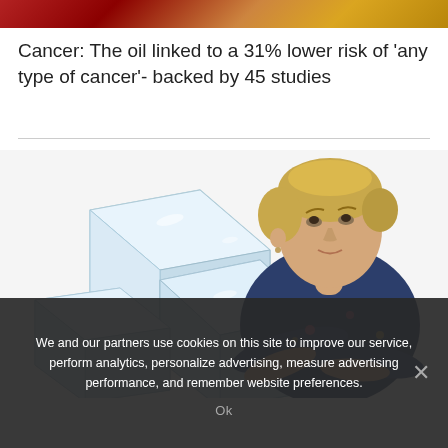[Figure (photo): Top banner image showing reddish-orange background, likely related to oil or cancer topic]
Cancer: The oil linked to a 31% lower risk of 'any type of cancer'- backed by 45 studies
[Figure (photo): Image showing ice cubes on the left and a blonde woman with short hair looking upward with arms crossed on the right, white background]
We and our partners use cookies on this site to improve our service, perform analytics, personalize advertising, measure advertising performance, and remember website preferences.
Ok